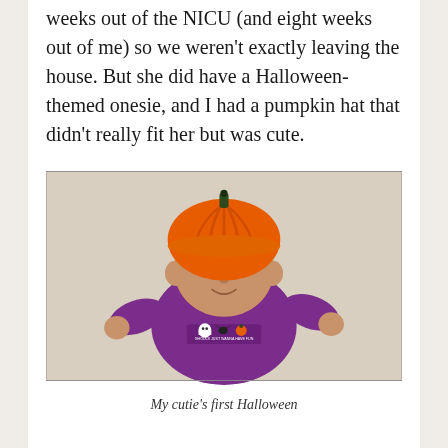weeks out of the NICU (and eight weeks out of me) so we weren't exactly leaving the house. But she did have a Halloween-themed onesie, and I had a pumpkin hat that didn't really fit her but was cute.
[Figure (photo): A newborn baby lying on a light-colored fabric background, wearing a purple Halloween onesie with ghost and pumpkin designs, and an oversized orange knitted pumpkin hat.]
My cutie's first Halloween